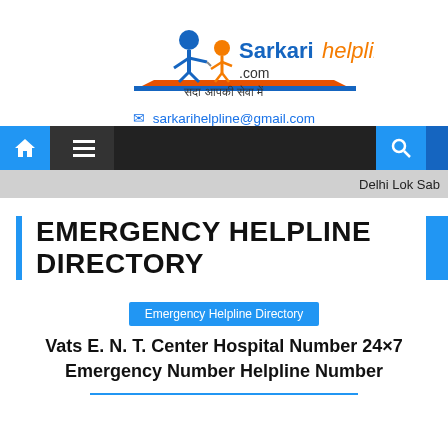[Figure (logo): Sarkarihelpline.com logo with two figures (blue adult and orange child) on a ramp, with the text 'Sarkari helpline.com' and Hindi tagline 'sada aapki seva mein']
sarkarihelpline@gmail.com
[Figure (screenshot): Navigation bar with home icon, hamburger menu, search icon on dark background]
Delhi Lok Sab
EMERGENCY HELPLINE DIRECTORY
Emergency Helpline Directory
Vats E. N. T. Center Hospital Number 24×7 Emergency Number Helpline Number